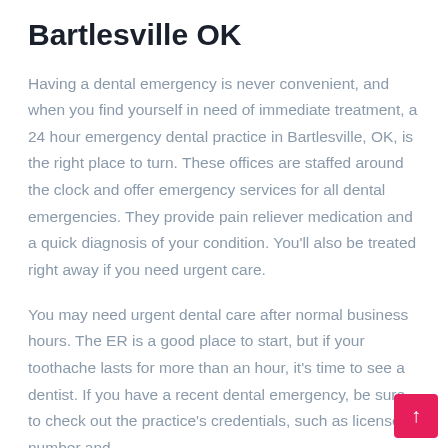Bartlesville OK
Having a dental emergency is never convenient, and when you find yourself in need of immediate treatment, a 24 hour emergency dental practice in Bartlesville, OK, is the right place to turn. These offices are staffed around the clock and offer emergency services for all dental emergencies. They provide pain reliever medication and a quick diagnosis of your condition. You'll also be treated right away if you need urgent care.
You may need urgent dental care after normal business hours. The ER is a good place to start, but if your toothache lasts for more than an hour, it's time to see a dentist. If you have a recent dental emergency, be sure to check out the practice's credentials, such as license number and